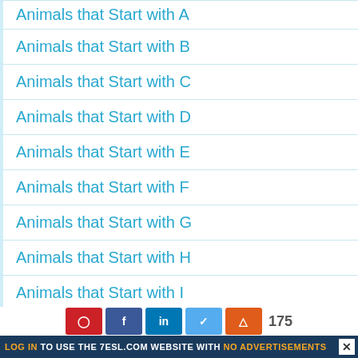Animals that Start with A
Animals that Start with B
Animals that Start with C
Animals that Start with D
Animals that Start with E
Animals that Start with F
Animals that Start with G
Animals that Start with H
Animals that Start with I
Animals that Start with J
Animals that Start with K
LOG IN TO USE THE 7ESL.COM WEBSITE WITH NO ADVERTISEMENTS